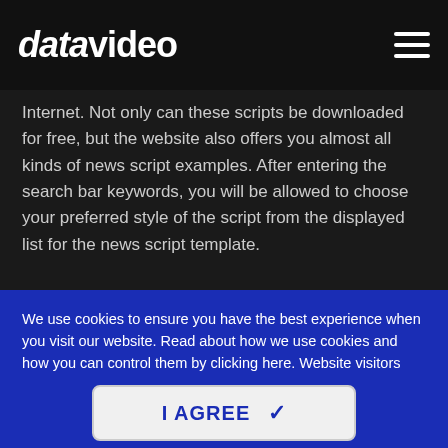datavideo
Internet. Not only can these scripts be downloaded for free, but the website also offers you almost all kinds of news script examples. After entering the search bar keywords, you will be allowed to choose your preferred style of the script from the displayed list for the news script template.
We use cookies to ensure you have the best experience when you visit our website. Read about how we use cookies and how you can control them by clicking here. Website visitors who do not wish to have cookies placed on their computers should set their browsers to refuse cookies before visiting the website.
I AGREE ✓